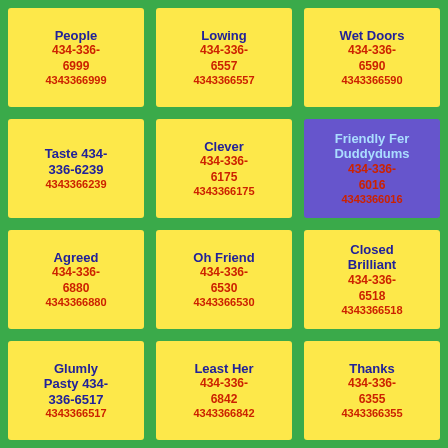People 434-336-6999 4343366999
Lowing 434-336-6557 4343366557
Wet Doors 434-336-6590 4343366590
Clever 434-336-6175 4343366175
Friendly Fer Duddydums 434-336-6016 4343366016
Taste 434-336-6239 4343366239
Agreed 434-336-6880 4343366880
Oh Friend 434-336-6530 4343366530
Closed Brilliant 434-336-6518 4343366518
Glumly Pasty 434-336-6517 4343366517
Least Her 434-336-6842 4343366842
Thanks 434-336-6355 4343366355